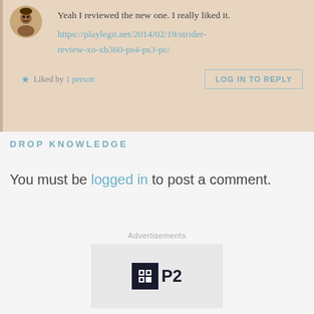[Figure (illustration): Cartoon avatar of a person with dark skin and short hair, shown as a circular profile picture in the top-left of a comment box.]
Yeah I reviewed the new one. I really liked it.
https://playlegit.net/2014/02/19/strider-review-xo-xb360-ps4-ps3-pc/
★ Liked by 1 person
LOG IN TO REPLY
DROP KNOWLEDGE
You must be logged in to post a comment.
Advertisements
[Figure (logo): P2 logo — dark square icon with grid/hash symbol followed by P2 text]